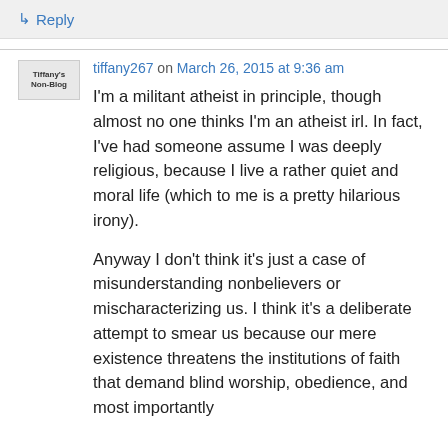↳ Reply
tiffany267 on March 26, 2015 at 9:36 am
I'm a militant atheist in principle, though almost no one thinks I'm an atheist irl. In fact, I've had someone assume I was deeply religious, because I live a rather quiet and moral life (which to me is a pretty hilarious irony).

Anyway I don't think it's just a case of misunderstanding nonbelievers or mischaracterizing us. I think it's a deliberate attempt to smear us because our mere existence threatens the institutions of faith that demand blind worship, obedience, and most importantly